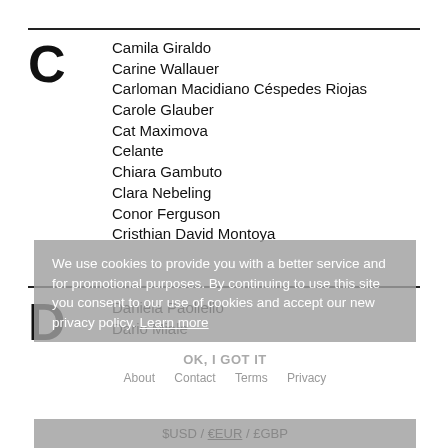C
Camila Giraldo
Carine Wallauer
Carloman Macidiano Céspedes Riojas
Carole Glauber
Cat Maximova
Celante
Chiara Gambuto
Clara Nebeling
Conor Ferguson
Cristhian David Montoya
D
Daniela Paoliello
Dario Miale
Dato Koridze
Davide Luciani
We use cookies to provide you with a better service and for promotional purposes. By continuing to use this site you consent to our use of cookies and accept our new privacy policy. Learn more
OK, I GOT IT
About  Contact  Terms  Privacy
$USD / €EUR / £GBP